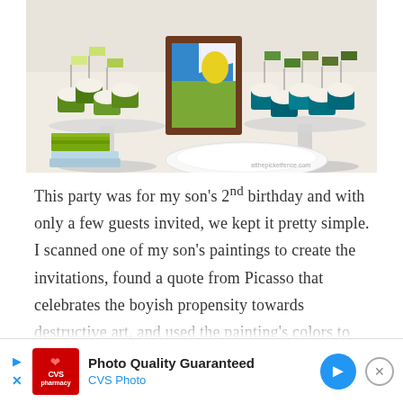[Figure (photo): Party table with cupcakes on glass cake stands decorated with green paper flags and wrappers, a framed child's painting in the center, green napkins, and a white plate in the foreground. Watermark reads atthepicketfence.com.]
This party was for my son's 2nd birthday and with only a few guests invited, we kept it pretty simple. I scanned one of my son's paintings to create the invitations, found a quote from Picasso that celebrates the boyish propensity towards destructive art, and used the painting's colors to create the color palette for our party
[Figure (screenshot): Advertisement banner for CVS Photo - Photo Quality Guaranteed]